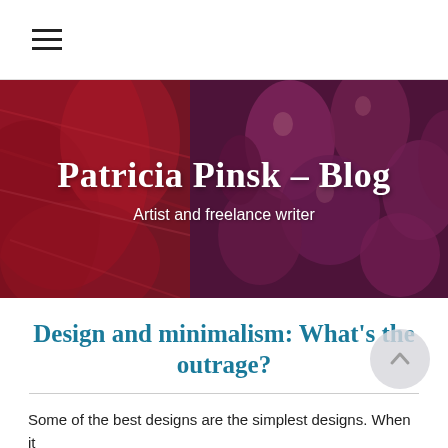≡ (hamburger menu)
[Figure (photo): Close-up macro photograph of colorful red and purple/maroon abstract shapes — appears to be yarn or fibres on the left and rounded organic forms (possibly seeds or capsules) on the right. Used as the blog header hero image.]
Patricia Pinsk – Blog
Artist and freelance writer
Design and minimalism: What's the outrage?
Some of the best designs are the simplest designs. When it